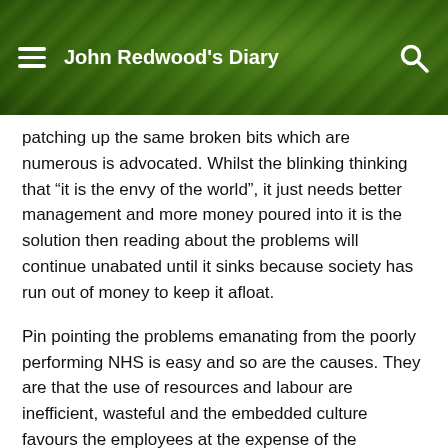John Redwood's Diary
patching up the same broken bits which are numerous is advocated. Whilst the blinking thinking that “it is the envy of the world”, it just needs better management and more money poured into it is the solution then reading about the problems will continue unabated until it sinks because society has run out of money to keep it afloat.
Pin pointing the problems emanating from the poorly performing NHS is easy and so are the causes. They are that the use of resources and labour are inefficient, wasteful and the embedded culture favours the employees at the expense of the customers (patients). This has come about because it is believed it being a universal public service it can only be provided by the state which is the opposite of the truth. Coupled with legislation especially the minimum living wage